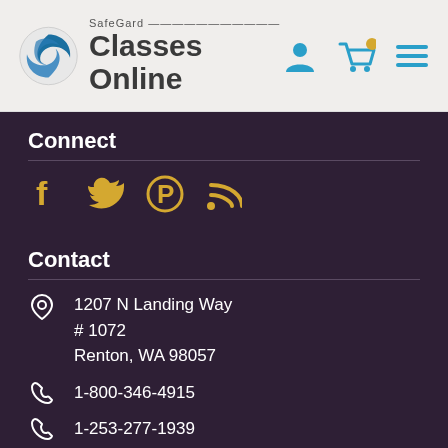[Figure (logo): SafeGard Classes Online logo with spinning globe icon]
Connect
[Figure (infographic): Social media icons: Facebook, Twitter, Pinterest, RSS feed in yellow/gold color]
Contact
1207 N Landing Way # 1072 Renton, WA 98057
1-800-346-4915
1-253-277-1939
email@sgclassesonline.com
Hours: 7am to 4pm Pacific Monday - Friday